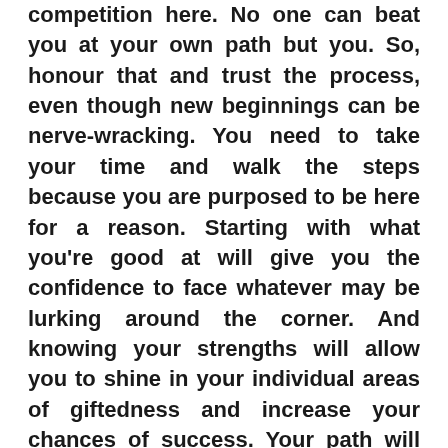competition here. No one can beat you at your own path but you. So, honour that and trust the process, even though new beginnings can be nerve-wracking. You need to take your time and walk the steps because you are purposed to be here for a reason. Starting with what you're good at will give you the confidence to face whatever may be lurking around the corner. And knowing your strengths will allow you to shine in your individual areas of giftedness and increase your chances of success. Your path will take shape organically and holistically in unexpected and thrilling ways.